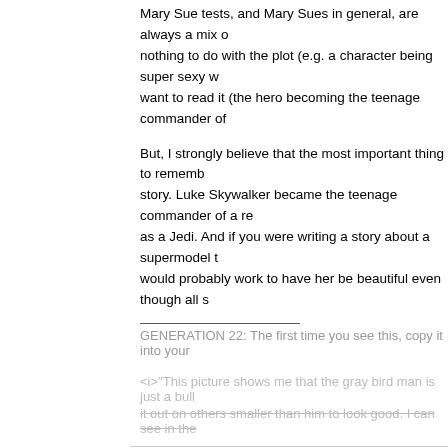Mary Sue tests, and Mary Sues in general, are always a mix of nothing to do with the plot (e.g. a character being super sexy w want to read it (the hero becoming the teenage commander of
But, I strongly believe that the most important thing to remember story. Luke Skywalker became the teenage commander of a re as a Jedi. And if you were writing a story about a supermodel t would probably work to have her be beautiful even though all s
GENERATION 22: The first time you see this, copy it into your
<i>"This picture shows me that the gray bird man is just a bull it out on others smaller than him to look good. I can see in the
Coppertop Jan 17, 2007, 04:00 PM
Agreed, but usually Mary Sues are wish-fulfillment characters own character is what I'd like to be (or used to, anyway) but I d
Radium